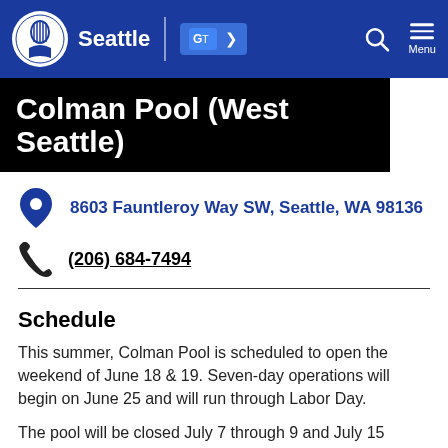Seattle
Colman Pool (West Seattle)
8603 Fauntleroy Way SW, Seattle, WA 98136
(206) 684-7494
Schedule
This summer, Colman Pool is scheduled to open the weekend of June 18 & 19. Seven-day operations will begin on June 25 and will run through Labor Day.
The pool will be closed July 7 through 9 and July 15